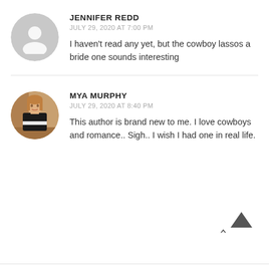[Figure (photo): Gray circular placeholder avatar icon for Jennifer Redd]
JENNIFER REDD
JULY 29, 2020 AT 7:00 PM
I haven't read any yet, but the cowboy lassos a bride one sounds interesting
[Figure (photo): Circular profile photo of Mya Murphy, woman in black and white striped top]
MYA MURPHY
JULY 29, 2020 AT 8:40 PM
This author is brand new to me. I love cowboys and romance.. Sigh.. I wish I had one in real life.